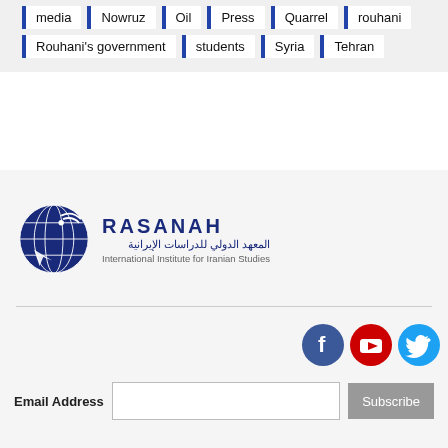media
Nowruz
Oil
Press
Quarrel
rouhani
Rouhani's government
students
Syria
Tehran
[Figure (logo): Rasanah - International Institute for Iranian Studies logo with globe icon and Arabic text]
Email Address  Subscribe | Facebook, YouTube, Twitter social icons